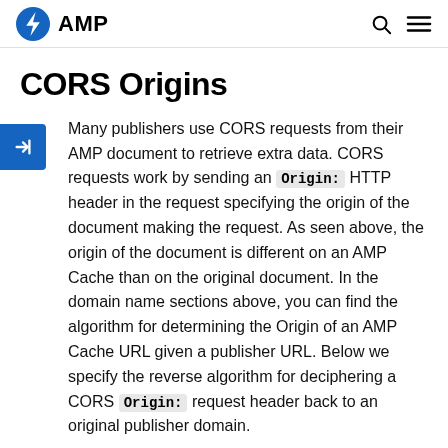AMP
CORS Origins
Many publishers use CORS requests from their AMP document to retrieve extra data. CORS requests work by sending an Origin: HTTP header in the request specifying the origin of the document making the request. As seen above, the origin of the document is different on an AMP Cache than on the original document. In the domain name sections above, you can find the algorithm for determining the Origin of an AMP Cache URL given a publisher URL. Below we specify the reverse algorithm for deciphering a CORS Origin: request header back to an original publisher domain.